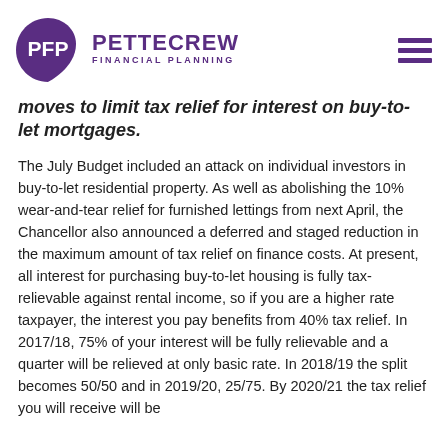[Figure (logo): Pettecrew Financial Planning logo with PFP in a purple teardrop/circle shape and purple hamburger menu icon on the right]
moves to limit tax relief for interest on buy-to-let mortgages.
The July Budget included an attack on individual investors in buy-to-let residential property. As well as abolishing the 10% wear-and-tear relief for furnished lettings from next April, the Chancellor also announced a deferred and staged reduction in the maximum amount of tax relief on finance costs. At present, all interest for purchasing buy-to-let housing is fully tax-relievable against rental income, so if you are a higher rate taxpayer, the interest you pay benefits from 40% tax relief. In 2017/18, 75% of your interest will be fully relievable and a quarter will be relieved at only basic rate. In 2018/19 the split becomes 50/50 and in 2019/20, 25/75. By 2020/21 the tax relief you will receive will be